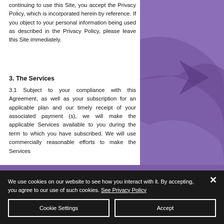continuing to use this Site, you accept the Privacy Policy, which is incorporated herein by reference. If you object to your personal information being used as described in the Privacy Policy, please leave this Site immediately.
3. The Services
3.1 Subject to your compliance with this Agreement, as well as your subscription for an applicable plan and our timely receipt of your associated payment (s), we will make the applicable Services available to you during the term to which you have subscribed. We will use commercially reasonable efforts to make the Services
We use cookies on our website to see how you interact with it. By accepting, you agree to our use of such cookies. See Privacy Policy
Cookie Settings
Accept